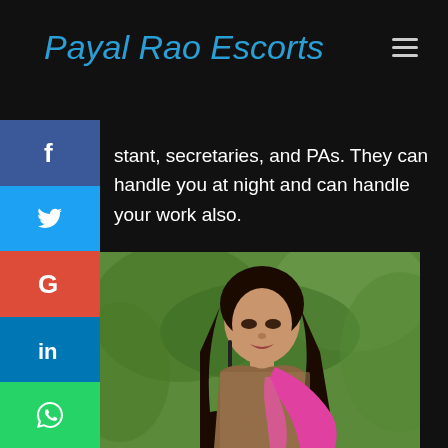Payal Rao Escorts
stant, secretaries, and PAs. They can handle you at night and can handle your work also.
[Figure (photo): Young Indian woman with long dark hair, wearing a sequined brown top and bright pink dupatta/scarf, looking downward, with green foliage background]
[Figure (infographic): Vertical social media share sidebar with Facebook (blue), Twitter (light blue), Google (red), LinkedIn (dark blue), WhatsApp (green) icons]